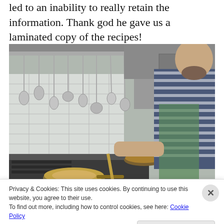led to an inability to really retain the information. Thank god he gave us a laminated copy of the recipes!
[Figure (photo): A chef in a striped shirt and green apron cooking in a professional kitchen, with pans on the stove and ladles hanging overhead.]
Privacy & Cookies: This site uses cookies. By continuing to use this website, you agree to their use.
To find out more, including how to control cookies, see here: Cookie Policy
Close and accept